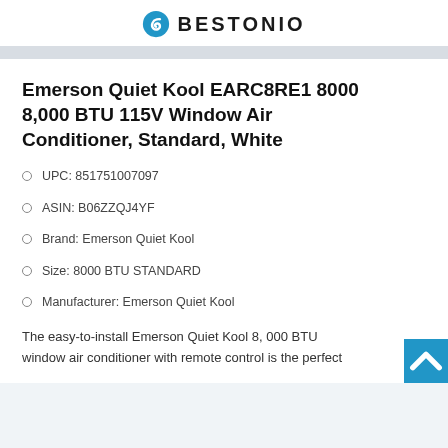BESTONIO
Emerson Quiet Kool EARC8RE1 8000 8,000 BTU 115V Window Air Conditioner, Standard, White
UPC: 851751007097
ASIN: B06ZZQJ4YF
Brand: Emerson Quiet Kool
Size: 8000 BTU STANDARD
Manufacturer: Emerson Quiet Kool
The easy-to-install Emerson Quiet Kool 8, 000 BTU window air conditioner with remote control is the perfect